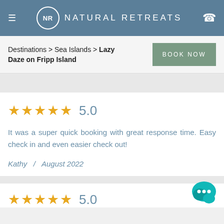NR  NATURAL RETREATS
Destinations > Sea Islands > Lazy Daze on Fripp Island
BOOK NOW
★★★★★  5.0
It was a super quick booking with great response time. Easy check in and even easier check out!
Kathy  /  August 2022
★★★★★  5.0